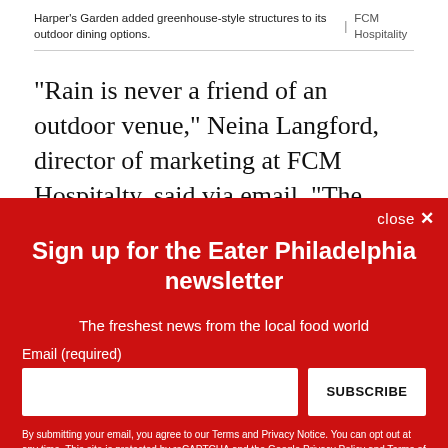Harper's Garden added greenhouse-style structures to its outdoor dining options.  |  FCM Hospitality
“Rain is never a friend of an outdoor venue,” Neina Langford, director of marketing at FCM Hospitalty, said via email. “The hardest obstacles were the ones we could not plan for, such as miscellaneous sun showers. Navigating the
close ×
Sign up for the Eater Philadelphia newsletter
The freshest news from the local food world
Email (required)
SUBSCRIBE
By submitting your email, you agree to our Terms and Privacy Notice. You can opt out at any time. This site is protected by reCAPTCHA and the Google Privacy Policy and Terms of Service apply.